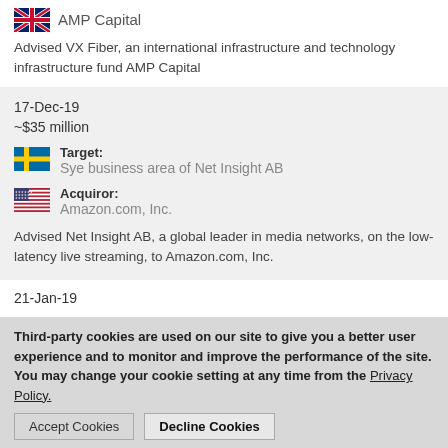AMP Capital
Advised VX Fiber, an international infrastructure and technology infrastructure fund AMP Capital
17-Dec-19
~$35 million
Target: Sye business area of Net Insight AB
Acquiror: Amazon.com, Inc.
Advised Net Insight AB, a global leader in media networks, on the low-latency live streaming, to Amazon.com, Inc.
21-Jan-19
Third-party cookies are used on our site to give you a better user experience and to monitor and improve the performance of the site.  You may change your cookie setting at any time from the Privacy Policy.